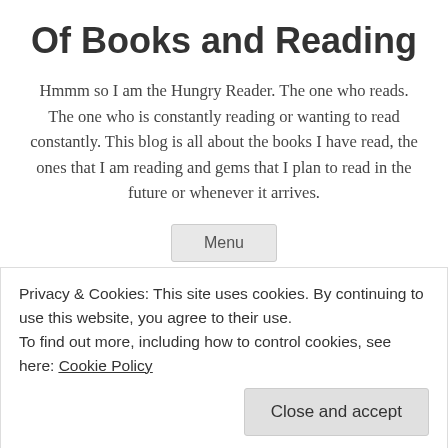Of Books and Reading
Hmmm so I am the Hungry Reader. The one who reads. The one who is constantly reading or wanting to read constantly. This blog is all about the books I have read, the ones that I am reading and gems that I plan to read in the future or whenever it arrives.
CATEGORY ARCHIVES: ART AND ARTISTS
Privacy & Cookies: This site uses cookies. By continuing to use this website, you agree to their use.
To find out more, including how to control cookies, see here: Cookie Policy
Close and accept